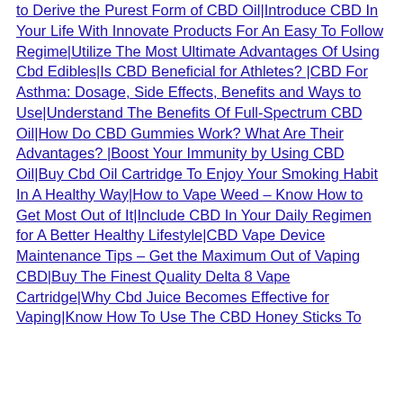to Derive the Purest Form of CBD Oil|Introduce CBD In Your Life With Innovate Products For An Easy To Follow Regime|Utilize The Most Ultimate Advantages Of Using Cbd Edibles|Is CBD Beneficial for Athletes?|CBD For Asthma: Dosage, Side Effects, Benefits and Ways to Use|Understand The Benefits Of Full-Spectrum CBD Oil|How Do CBD Gummies Work? What Are Their Advantages? |Boost Your Immunity by Using CBD Oil|Buy Cbd Oil Cartridge To Enjoy Your Smoking Habit In A Healthy Way|How to Vape Weed – Know How to Get Most Out of It|Include CBD In Your Daily Regimen for A Better Healthy Lifestyle|CBD Vape Device Maintenance Tips – Get the Maximum Out of Vaping CBD|Buy The Finest Quality Delta 8 Vape Cartridge|Why Cbd Juice Becomes Effective for Vaping|Know How To Use The CBD Honey Sticks To